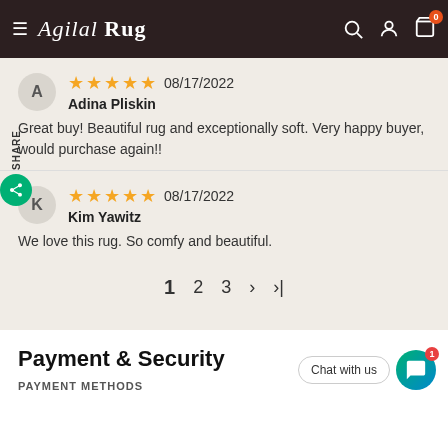Azilal Rug
A
★★★★★ 08/17/2022
Adina Pliskin
Great buy! Beautiful rug and exceptionally soft. Very happy buyer, would purchase again!!
K
★★★★★ 08/17/2022
Kim Yawitz
We love this rug. So comfy and beautiful.
1  2  3  ›  ›|
Payment & Security
PAYMENT METHODS